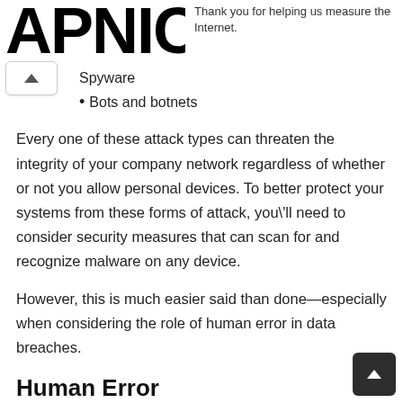APNIC — Thank you for helping us measure the Internet.
Spyware
Bots and botnets
Every one of these attack types can threaten the integrity of your company network regardless of whether or not you allow personal devices. To better protect your systems from these forms of attack, you'll need to consider security measures that can scan for and recognize malware on any device.
However, this is much easier said than done—especially when considering the role of human error in data breaches.
Human Error
Human error has been cited as a significant contributing factor in as many as 98% of data breaches. That means that